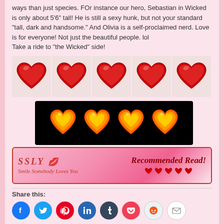ways than just species. FOr instance our hero, Sebastian in Wicked is only about 5'6" tall! He is still a sexy hunk, but not your standard "tall, dark and handsome." And Olivia is a self-proclaimed nerd. Love is for everyone! Not just the beautiful people. lol
Take a ride to "the Wicked" side!
[Figure (illustration): Five red crystal heart images in a row on white/pink background]
[Figure (illustration): Four glowing orange/fire heart images on a black background banner]
[Figure (illustration): SSLY Smile Somebody Loves You banner with Recommended Read text and mini heart images]
Share this:
[Figure (infographic): Social media sharing icons: Facebook, Twitter, Pinterest, LinkedIn, Tumblr, Pocket, Reddit, Email]